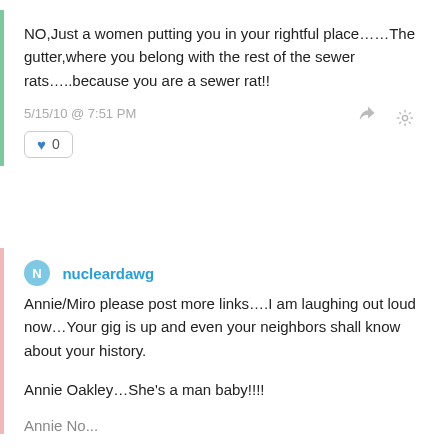NO,Just a women putting you in your rightful place……The gutter,where you belong with the rest of the sewer rats…..because you are a sewer rat!!
5/15/10 @ 7:51 PM
0
nucleardawg
Annie/Miro please post more links….I am laughing out loud now…Your gig is up and even your neighbors shall know about your history.

Annie Oakley…She's a man baby!!!!
Annie No...